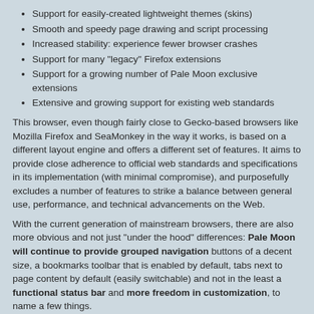Support for easily-created lightweight themes (skins)
Smooth and speedy page drawing and script processing
Increased stability: experience fewer browser crashes
Support for many "legacy" Firefox extensions
Support for a growing number of Pale Moon exclusive extensions
Extensive and growing support for existing web standards
This browser, even though fairly close to Gecko-based browsers like Mozilla Firefox and SeaMonkey in the way it works, is based on a different layout engine and offers a different set of features. It aims to provide close adherence to official web standards and specifications in its implementation (with minimal compromise), and purposefully excludes a number of features to strike a balance between general use, performance, and technical advancements on the Web.
With the current generation of mainstream browsers, there are also more obvious and not just "under the hood" differences: Pale Moon will continue to provide grouped navigation buttons of a decent size, a bookmarks toolbar that is enabled by default, tabs next to page content by default (easily switchable) and not in the least a functional status bar and more freedom in customization, to name a few things.
Pale Moon is, and will always be, Open Source and completely FREE to download and use!